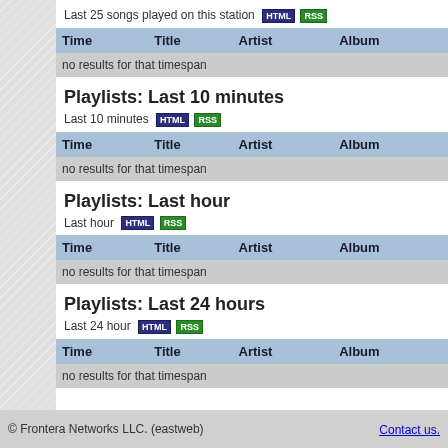Last 25 songs played on this station HTML RSS
| Time | Title | Artist | Album |
| --- | --- | --- | --- |
| no results for that timespan |  |  |  |
Playlists: Last 10 minutes
Last 10 minutes HTML RSS
| Time | Title | Artist | Album |
| --- | --- | --- | --- |
| no results for that timespan |  |  |  |
Playlists: Last hour
Last hour HTML RSS
| Time | Title | Artist | Album |
| --- | --- | --- | --- |
| no results for that timespan |  |  |  |
Playlists: Last 24 hours
Last 24 hour HTML RSS
| Time | Title | Artist | Album |
| --- | --- | --- | --- |
| no results for that timespan |  |  |  |
© Frontera Networks LLC. (eastweb)   Contact us.